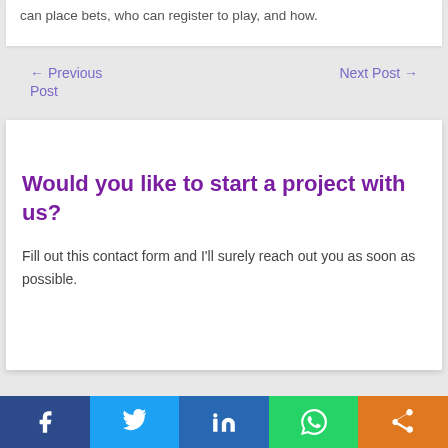can place bets, who can register to play, and how.
← Previous Post
Next Post →
Would you like to start a project with us?
Fill out this contact form and I'll surely reach out you as soon as possible.